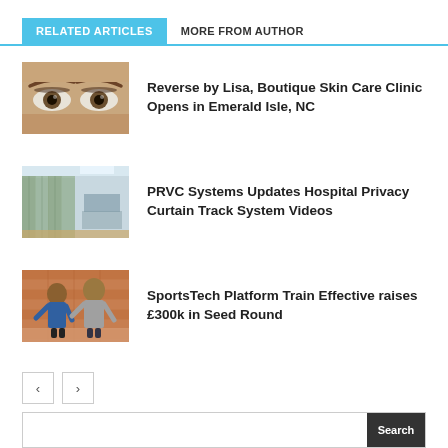RELATED ARTICLES	MORE FROM AUTHOR
[Figure (photo): Close-up of a woman's eyes with dramatic expression]
Reverse by Lisa, Boutique Skin Care Clinic Opens in Emerald Isle, NC
[Figure (photo): Hospital room with privacy curtain track system]
PRVC Systems Updates Hospital Privacy Curtain Track System Videos
[Figure (photo): Two men in sports gear posing in front of a brick wall]
SportsTech Platform Train Effective raises £300k in Seed Round